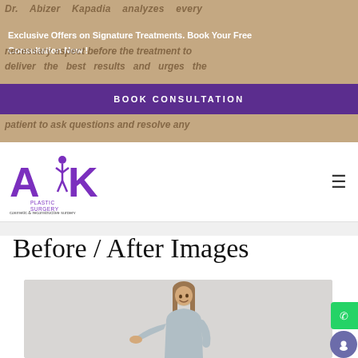Dr. Abizer Kapadia analyzes every necessary aspect before the treatment to deliver the best results and urges the patient to ask questions and resolve any
Exclusive Offers on Signature Treatments. Book Your Free Consultation Now !
BOOK CONSULTATION
[Figure (logo): AK Plastic Surgery - cosmetic & reconstructive surgery logo with purple lettering and female silhouette]
Before / After Images
[Figure (photo): Young woman in light blue t-shirt holding out her hand, smiling and looking upward, on light grey background]